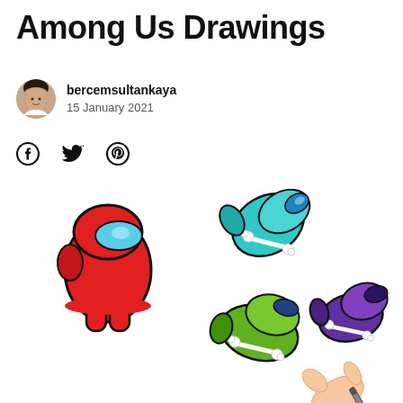Among Us Drawings
bercemsultankaya
15 January 2021
[Figure (illustration): Social media share icons: Facebook, Twitter, Pinterest]
[Figure (illustration): Among Us character drawings: a red crewmate standing upright, two cyan crewmates dead/fallen, a green crewmate dead/fallen, a purple crewmate dead/fallen, and a hand holding a marker drawing them]